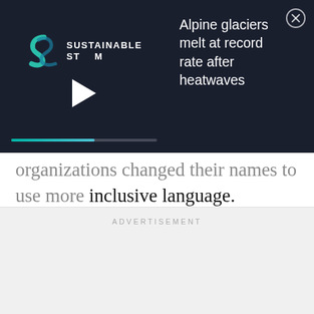[Figure (screenshot): Video player overlay banner with dark navy background showing a 'Sustainable Stream' logo on the left with a play button and teal progress bar, and on the right the headline 'Alpine glaciers melt at record rate after heatwaves' in white text, with a close (X) button in the top right corner.]
organizations changed their names to use more inclusive language. Because while the battle for full access to reproductive care is an ongoing one for many women, women are not the only ones in this fight. And it’s really cool to see organizations recognize that.
ADVERTISEMENT